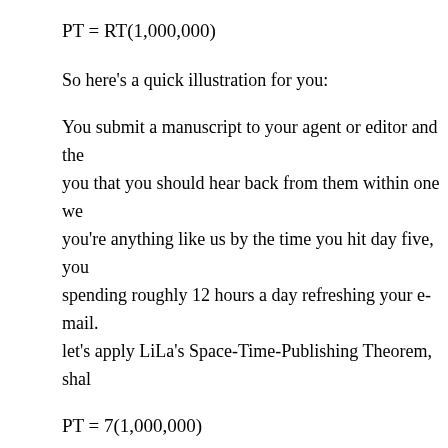So here's a quick illustration for you:
You submit a manuscript to your agent or editor and the you that you should hear back from them within one we you're anything like us by the time you hit day five, you spending roughly 12 hours a day refreshing your e-mail. let's apply LiLa's Space-Time-Publishing Theorem, shal
So...publishing time equals 7,000,000 days. Shazam! Go finger off the refresh button because the human race wil probably be extinct before you hear back.
You're welcome.